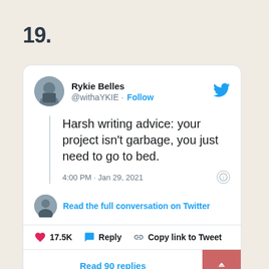19.
[Figure (screenshot): A screenshot of a Twitter/social media post by Rykie Belles (@withaYKIE) with a Follow button. The tweet reads: 'Harsh writing advice: your project isn't garbage, you just need to go to bed.' Posted at 4:00 PM · Jan 29, 2021. Below shows a link to 'Read the full conversation on Twitter', engagement icons showing 17.5K likes, Reply, and Copy link to Tweet buttons, and a 'Read 90 replies' button.]